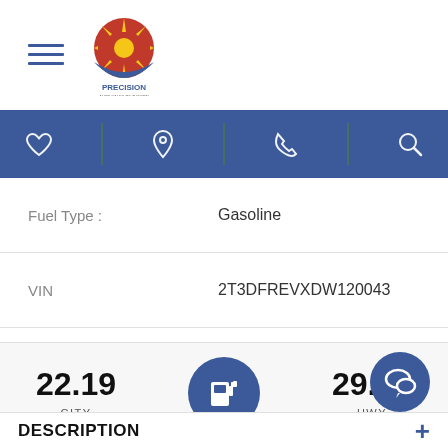[Figure (logo): Precision Auto Sales of Tucson logo with Arizona sun symbol]
[Figure (infographic): Navigation bar with heart, location pin, phone, and search icons on blue background]
| Field | Value |
| --- | --- |
| Fuel Type : | Gasoline |
| VIN | 2T3DFREVXDW120043 |
| Title | Clean |
[Figure (infographic): Fuel economy display: 22.19 CITY and 29.04 HWY with gas pump icon]
DESCRIPTION